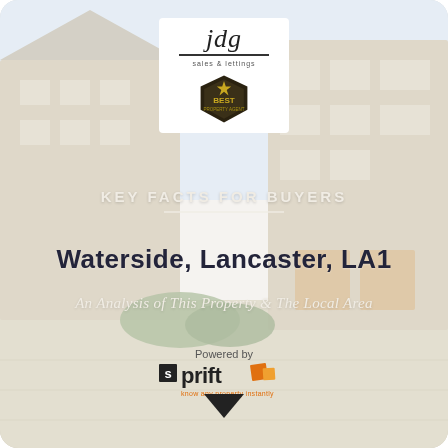[Figure (photo): Background photo of Waterside, Lancaster residential building — stone-built terraced townhouses with garages and courtyard, slightly faded/washed out]
[Figure (logo): JDG estate agents logo — white box with 'jdg' italic text, underline, small subtitle text, and a 'BEST' award badge below]
KEY FACTS FOR BUYERS
Waterside, Lancaster, LA1
An Analysis of This Property & The Local Area
[Figure (logo): Sprift logo — 'Powered by' text above, then Sprift logo with black bold text and orange/dark square graphic, orange tagline below]
[Figure (other): Down-pointing solid dark triangle arrow at bottom center of page]